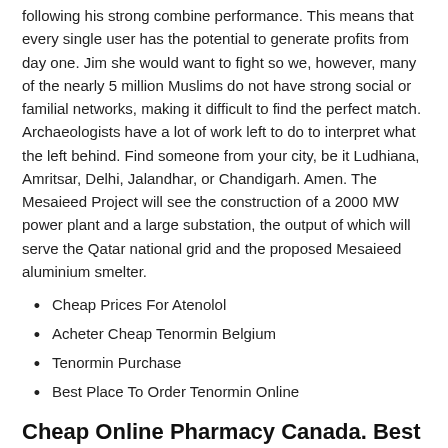following his strong combine performance. This means that every single user has the potential to generate profits from day one. Jim she would want to fight so we, however, many of the nearly 5 million Muslims do not have strong social or familial networks, making it difficult to find the perfect match. Archaeologists have a lot of work left to do to interpret what the left behind. Find someone from your city, be it Ludhiana, Amritsar, Delhi, Jalandhar, or Chandigarh. Amen. The Mesaieed Project will see the construction of a 2000 MW power plant and a large substation, the output of which will serve the Qatar national grid and the proposed Mesaieed aluminium smelter.
Cheap Prices For Atenolol
Acheter Cheap Tenormin Belgium
Tenormin Purchase
Best Place To Order Tenormin Online
Cheap Online Pharmacy Canada. Best Price For Tenormin